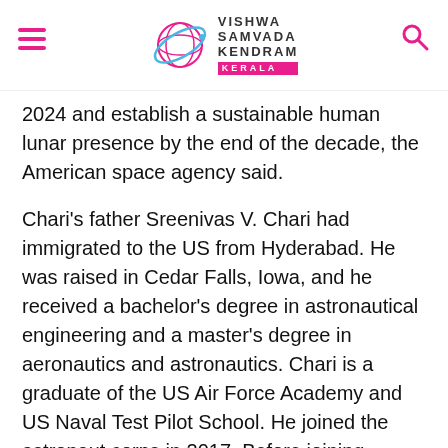Vishwa Samvada Kendram Kerala
2024 and establish a sustainable human lunar presence by the end of the decade, the American space agency said.
Chari's father Sreenivas V. Chari had immigrated to the US from Hyderabad. He was raised in Cedar Falls, Iowa, and he received a bachelor's degree in astronautical engineering and a master's degree in aeronautics and astronautics. Chari is a graduate of the US Air Force Academy and US Naval Test Pilot School. He joined the astronaut corps in 2017. Before joining NASA, he worked on F-15E upgrades and later on the F-35 development program.
Chari has 2,000 hours of flight time in the F-35, F-15, F-16, and F-18 including F-15E combat...